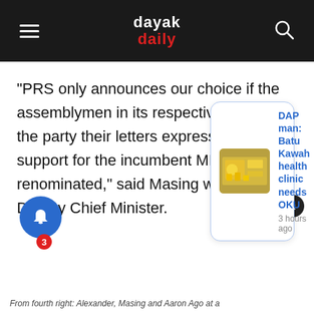dayak daily
“PRS only announces our choice if the assemblymen in its respective area give the party their letters expressing their support for the incumbent MP to be renominated,” said Masing who is also Deputy Chief Minister.
[Figure (screenshot): Notification popup card showing headline: DAP man: Batu Kawah health clinic needs OKU, 3 hours ago, with thumbnail image]
From fourth right: Alexander, Masing and Aaron Ago at a